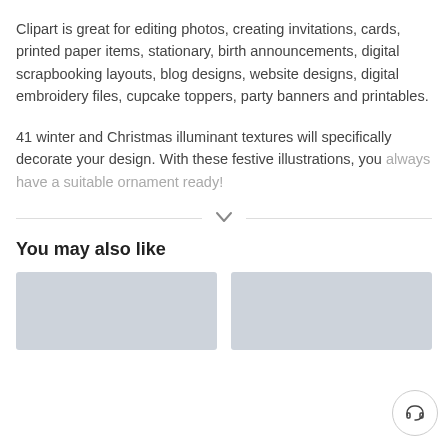Clipart is great for editing photos, creating invitations, cards, printed paper items, stationary, birth announcements, digital scrapbooking layouts, blog designs, website designs, digital embroidery files, cupcake toppers, party banners and printables.
41 winter and Christmas illuminant textures will specifically decorate your design. With these festive illustrations, you always have a suitable ornament ready!
You may also like
[Figure (illustration): Two placeholder thumbnail images with light blue-grey fill color side by side]